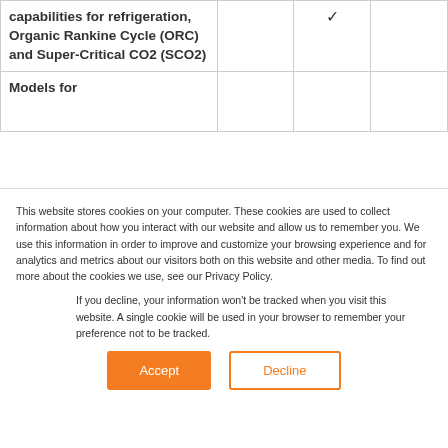| capabilities for refrigeration, Organic Rankine Cycle (ORC) and Super-Critical CO2 (SCO2) |  | ✓ |  |
| Models for |  |  |  |
This website stores cookies on your computer. These cookies are used to collect information about how you interact with our website and allow us to remember you. We use this information in order to improve and customize your browsing experience and for analytics and metrics about our visitors both on this website and other media. To find out more about the cookies we use, see our Privacy Policy.
If you decline, your information won't be tracked when you visit this website. A single cookie will be used in your browser to remember your preference not to be tracked.